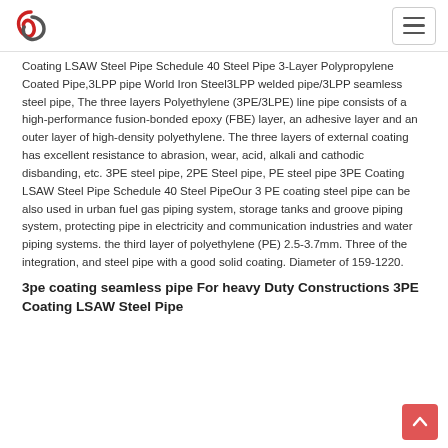[Logo] [Navigation hamburger menu]
Coating LSAW Steel Pipe Schedule 40 Steel Pipe 3-Layer Polypropylene Coated Pipe,3LPP pipe World Iron Steel3LPP welded pipe/3LPP seamless steel pipe, The three layers Polyethylene (3PE/3LPE) line pipe consists of a high-performance fusion-bonded epoxy (FBE) layer, an adhesive layer and an outer layer of high-density polyethylene. The three layers of external coating has excellent resistance to abrasion, wear, acid, alkali and cathodic disbanding, etc. 3PE steel pipe, 2PE Steel pipe, PE steel pipe 3PE Coating LSAW Steel Pipe Schedule 40 Steel PipeOur 3 PE coating steel pipe can be also used in urban fuel gas piping system, storage tanks and groove piping system, protecting pipe in electricity and communication industries and water piping systems. the third layer of polyethylene (PE) 2.5-3.7mm. Three of the integration, and steel pipe with a good solid coating. Diameter of 159-1220.
3pe coating seamless pipe For heavy Duty Constructions 3PE Coating LSAW Steel Pipe